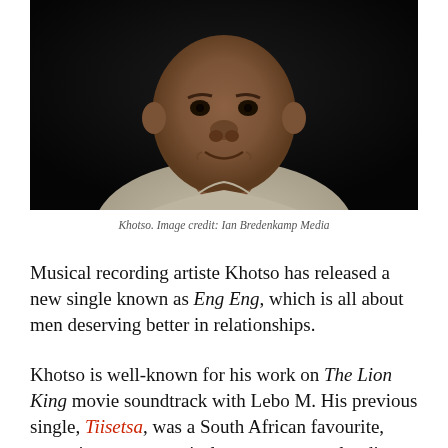[Figure (photo): Portrait photo of Khotso, a man smiling against a dark/black background, wearing a light patterned shirt.]
Khotso. Image credit: Ian Bredenkamp Media
Musical recording artiste Khotso has released a new single known as Eng Eng, which is all about men deserving better in relationships.
Khotso is well-known for his work on The Lion King movie soundtrack with Lebo M. His previous single, Tiisetsa, was a South African favourite, garnering generous airplay across several radio stations and TV